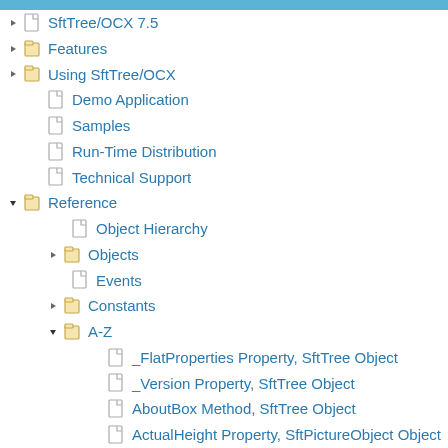SftTree/OCX 7.5
Features
Using SftTree/OCX
Demo Application
Samples
Run-Time Distribution
Technical Support
Reference
Object Hierarchy
Objects
Events
Constants
A-Z
_FlatProperties Property, SftTree Object
_Version Property, SftTree Object
AboutBox Method, SftTree Object
ActualHeight Property, SftPictureObject Object
ActualWidth Property, SftPictureObject Object